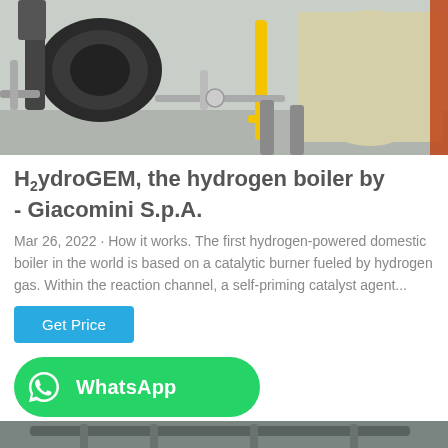[Figure (photo): Industrial hydrogen boiler/burner equipment in a facility — large cylindrical tank visible on the right, burner/motor assembly on the left, yellow safety post in center, pipes and industrial components visible.]
H2ydroGEM, the hydrogen boiler by - Giacomini S.p.A.
Mar 26, 2022 · How it works. The first hydrogen-powered domestic boiler in the world is based on a catalytic burner fueled by hydrogen gas. Within the reaction channel, a self-priming catalyst agent...
[Figure (screenshot): Blue 'Get Price' button]
[Figure (logo): Green WhatsApp button with WhatsApp icon and 'WhatsApp' text]
[Figure (photo): Industrial facility interior showing pipes, tanks, and mechanical systems from below.]